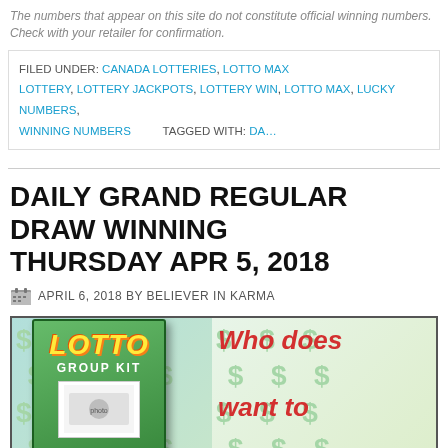The numbers that appear on this site do not constitute official winning numbers. Check with your retailer for confirmation.
FILED UNDER: CANADA LOTTERIES, LOTTO MAX LOTTERY, LOTTERY JACKPOTS, LOTTERY WIN, LOTTO MAX, LUCKY NUMBERS, WINNING NUMBERS | TAGGED WITH: DA...
DAILY GRAND REGULAR DRAW WINNING NUMBERS THURSDAY APR 5, 2018
APRIL 6, 2018 BY BELIEVER IN KARMA
[Figure (illustration): Advertisement for Lotto Group Kit book. Left side shows a green book cover with 'LOTTO GROUP KIT' text and yellow dollar signs on a green background. Right side shows text: 'Who does want to CLICK H...' in red and blue bold italic font on a light green background with dollar signs pattern.]